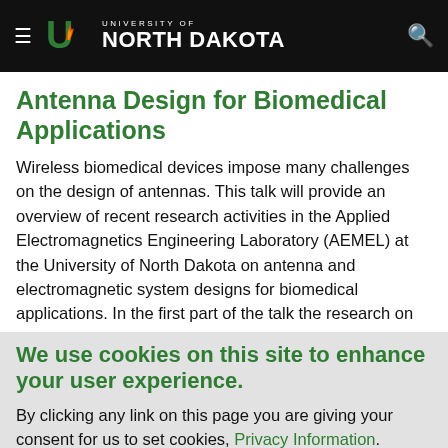University of North Dakota
Antenna Design for Biomedical Applications
Wireless biomedical devices impose many challenges on the design of antennas. This talk will provide an overview of recent research activities in the Applied Electromagnetics Engineering Laboratory (AEMEL) at the University of North Dakota on antenna and electromagnetic system designs for biomedical applications. In the first part of the talk the research on
We use cookies on this site to enhance your user experience.
By clicking any link on this page you are giving your consent for us to set cookies, Privacy Information.